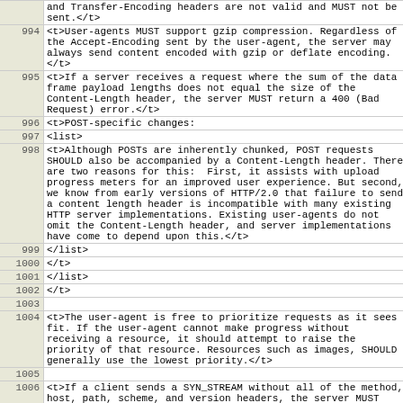| line | code |
| --- | --- |
|  | and Transfer-Encoding headers are not valid and MUST not be sent.</t> |
| 994 | <t>User-agents MUST support gzip compression. Regardless of the Accept-Encoding sent by the user-agent, the server may always send content encoded with gzip or deflate encoding.</t> |
| 995 | <t>If a server receives a request where the sum of the data frame payload lengths does not equal the size of the Content-Length header, the server MUST return a 400 (Bad Request) error.</t> |
| 996 | <t>POST-specific changes: |
| 997 | <list> |
| 998 | <t>Although POSTs are inherently chunked, POST requests SHOULD also be accompanied by a Content-Length header. There are two reasons for this:  First, it assists with upload progress meters for an improved user experience. But second, we know from early versions of HTTP/2.0 that failure to send a content length header is incompatible with many existing HTTP server implementations. Existing user-agents do not omit the Content-Length header, and server implementations have come to depend upon this.</t> |
| 999 | </list> |
| 1000 | </t> |
| 1001 | </list> |
| 1002 | </t> |
| 1003 |  |
| 1004 | <t>The user-agent is free to prioritize requests as it sees fit. If the user-agent cannot make progress without receiving a resource, it should attempt to raise the priority of that resource. Resources such as images, SHOULD generally use the lowest priority.</t> |
| 1005 |  |
| 1006 | <t>If a client sends a SYN_STREAM without all of the method, host, path, scheme, and version headers, the server MUST reply with a HTTP 400 Bad Request reply.</t> |